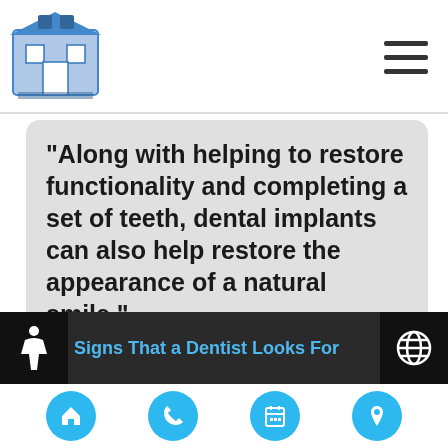[Figure (logo): Dental practice logo — building/house icon with blue and grey tones]
[Figure (other): Hamburger menu icon (three horizontal lines) in top right corner]
“Along with helping to restore functionality and completing a set of teeth, dental implants can also help restore the appearance of a natural smile.”
[Figure (other): Web Chat widget button with chat bubble icon and text 'Web Chat' on dark blue-grey background]
[Figure (other): Close/cancel circular button with X icon]
Signs That a Dentist Looks For
[Figure (other): Bottom navigation bar with four circular blue buttons: home, phone, calendar, location pin icons]